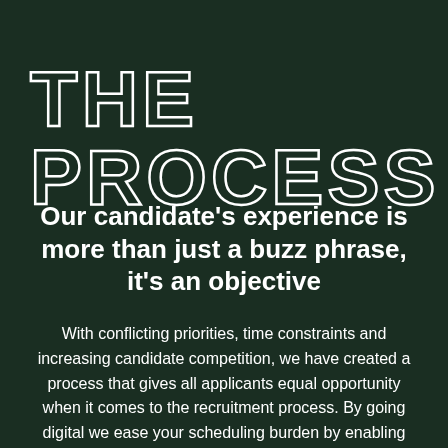THE PROCESS
Our candidate's experience is more than just a buzz phrase, it's an objective
With conflicting priorities, time constraints and increasing candidate competition, we have created a process that gives all applicants equal opportunity when it comes to the recruitment process. By going digital we ease your scheduling burden by enabling you to complete video interviews and assessments from anywhere, at a time convenient for you. Additionally, it assists in